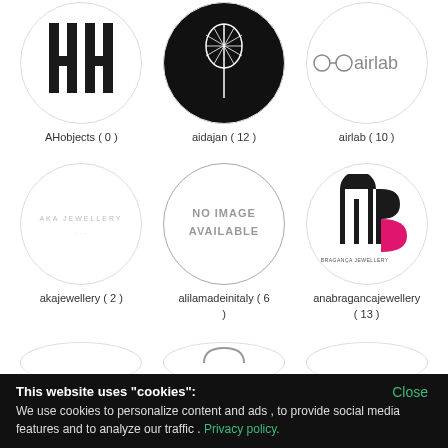[Figure (logo): AHobjects logo - two capital H letters stylized]
AHobjects ( 0 )
[Figure (logo): aidajan logo - stylized tree/leaf on black circle background]
aidajan ( 12 )
[Figure (logo): airlab logo - text with circle and square eye shapes]
airlab ( 10 )
[Figure (logo): akajewellery logo - faint text on white circle]
akajewellery ( 2 )
[Figure (logo): alilamadeinitaly - NO IMAGE AVAILABLE placeholder]
alilamadeinitaly ( 6 )
[Figure (logo): anabragancajewellery logo - geometric shapes with pink accent]
anabragancajewellery ( 13 )
This website uses "cookies": We use cookies to personalize content and ads , to provide social media features and to analyze our traffic . Privacy policy.